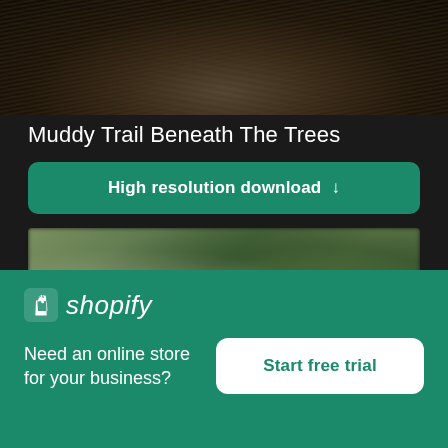[Figure (photo): Top portion of a muddy trail beneath trees, dark tones with brown and black earthy textures]
Muddy Trail Beneath The Trees
High resolution download ↓
[Figure (photo): Blurred close-up of foliage with green leaves and orange/yellow fruits or flowers, bokeh effect]
[Figure (logo): Shopify logo — shopping bag icon and italic 'shopify' wordmark in white]
Need an online store for your business?
Start free trial